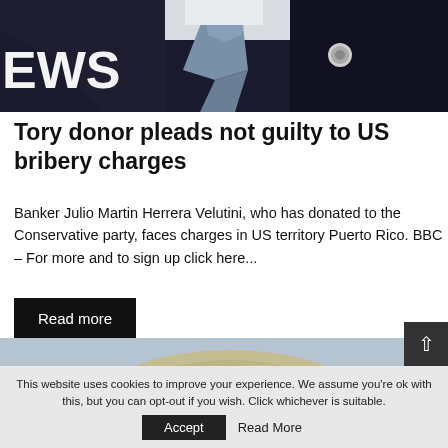[Figure (photo): Close-up photo of a person in a dark suit with a blue/grey tie and white shirt, partially visible. The word 'EWS' is overlaid in white bold text on the left side, suggesting a 'NEWS' banner.]
Tory donor pleads not guilty to US bribery charges
Banker Julio Martin Herrera Velutini, who has donated to the Conservative party, faces charges in US territory Puerto Rico. BBC – For more and to sign up click here...
Read more
[Figure (photo): Partial photo showing the top of a person's head with blonde/light hair against a light blue-grey background.]
This website uses cookies to improve your experience. We assume you're ok with this, but you can opt-out if you wish. Click whichever is suitable.
Accept
Read More